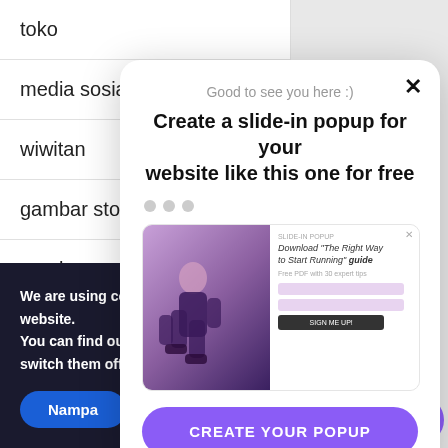toko
media sosial
wiwitan
gambar stock
pengembang
wordpress
We are using cookies on this website.
You can find out more or switch them off if
Nampa
Good to see you here :)
Create a slide-in popup for your website like this one for free
[Figure (screenshot): Screenshot of a slide-in popup showing an athlete tying shoes with a download guide form]
CREATE YOUR POPUP